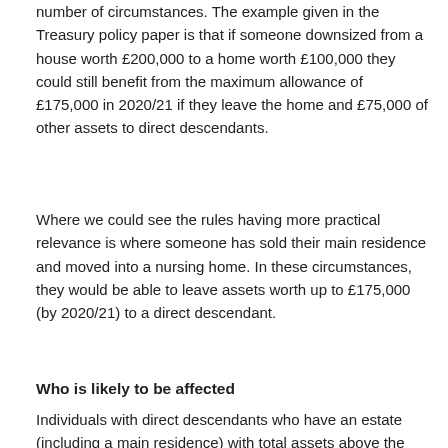number of circumstances. The example given in the Treasury policy paper is that if someone downsized from a house worth £200,000 to a home worth £100,000 they could still benefit from the maximum allowance of £175,000 in 2020/21 if they leave the home and £75,000 of other assets to direct descendants.
Where we could see the rules having more practical relevance is where someone has sold their main residence and moved into a nursing home. In these circumstances, they would be able to leave assets worth up to £175,000 (by 2020/21) to a direct descendant.
Who is likely to be affected
Individuals with direct descendants who have an estate (including a main residence) with total assets above the